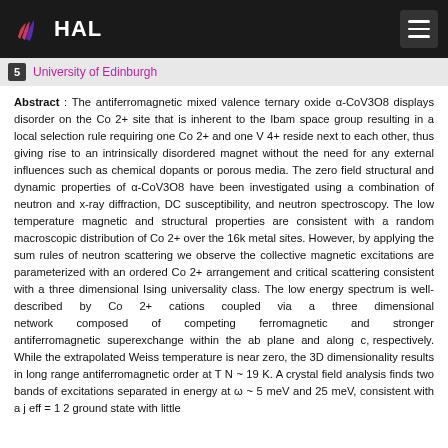HAL
5 University of Edinburgh
Abstract : The antiferromagnetic mixed valence ternary oxide α-CoV3O8 displays disorder on the Co 2+ site that is inherent to the Ibam space group resulting in a local selection rule requiring one Co 2+ and one V 4+ reside next to each other, thus giving rise to an intrinsically disordered magnet without the need for any external influences such as chemical dopants or porous media. The zero field structural and dynamic properties of α-CoV3O8 have been investigated using a combination of neutron and x-ray diffraction, DC susceptibility, and neutron spectroscopy. The low temperature magnetic and structural properties are consistent with a random macroscopic distribution of Co 2+ over the 16k metal sites. However, by applying the sum rules of neutron scattering we observe the collective magnetic excitations are parameterized with an ordered Co 2+ arrangement and critical scattering consistent with a three dimensional Ising universality class. The low energy spectrum is well-described by Co 2+ cations coupled via a three dimensional network composed of competing ferromagnetic and stronger antiferromagnetic superexchange within the ab plane and along c, respectively. While the extrapolated Weiss temperature is near zero, the 3D dimensionality results in long range antiferromagnetic order at T N ~ 19 K. A crystal field analysis finds two bands of excitations separated in energy at ω ~ 5 meV and 25 meV, consistent with a j eff = 1 2 ground state with little